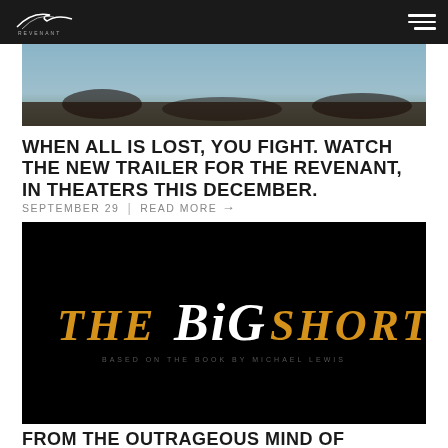REVENANT (logo + hamburger menu)
[Figure (photo): Partially visible movie still from The Revenant, showing a outdoor scene with blue sky and terrain]
WHEN ALL IS LOST, YOU FIGHT. WATCH THE NEW TRAILER FOR THE REVENANT, IN THEATERS THIS DECEMBER.
SEPTEMBER 29  |  READ MORE →
[Figure (photo): Movie title card for 'THE BIG SHORT' in gold and white serif italic text on a black background]
FROM THE OUTRAGEOUS MIND OF